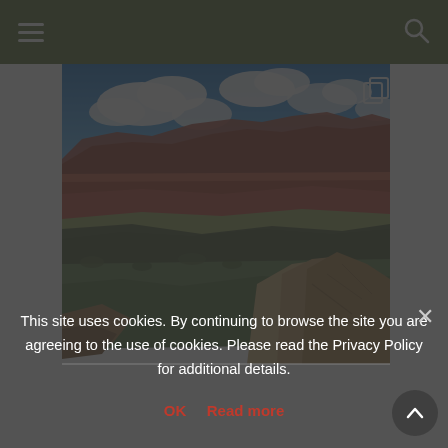Navigation bar with hamburger menu and search icon
[Figure (photo): Aerial landscape photo of the Grand Canyon showing red rock formations, a vast valley with green scrubland, dramatic canyon walls with layered red and brown sedimentary rock, and a bright blue sky with white cumulus clouds. Rocky boulders are prominent in the foreground lower right.]
This site uses cookies. By continuing to browse the site you are agreeing to the use of cookies. Please read the Privacy Policy for additional details.
OK   Read more